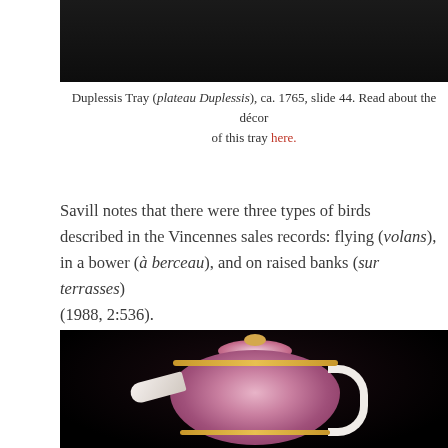[Figure (photo): Photograph of a Duplessis Tray on dark background, top portion of image visible]
Duplessis Tray (plateau Duplessis), ca. 1765, slide 44. Read about the décor of this tray here.
Savill notes that there were three types of birds described in the Vincennes sales records: flying (volans), in a bower (à berceau), and on raised banks (sur terrasses) (1988, 2:536).
[Figure (photo): Photograph of a decorative teapot with pink and dark floral pattern on black background, featuring gold bands and a white spout and handle]